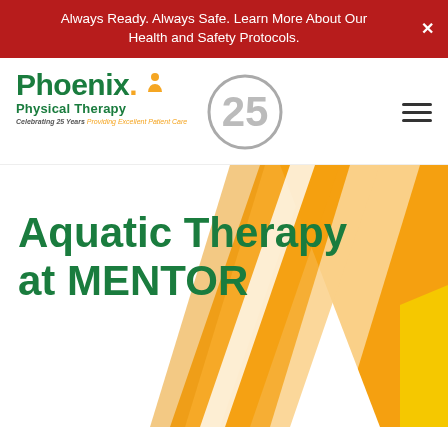Always Ready. Always Safe. Learn More About Our Health and Safety Protocols.
[Figure (logo): Phoenix Physical Therapy 25th anniversary logo with green text, orange dot, person icon, and grey '25' circle badge. Tagline: Celebrating 25 Years Providing Excellent Patient Care.]
Aquatic Therapy at MENTOR
[Figure (illustration): Diagonal orange and yellow stripe graphic on the right side of the hero section background.]